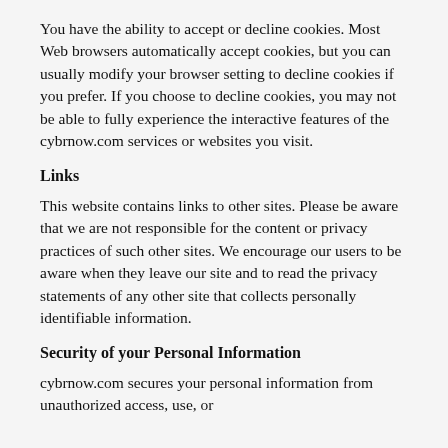You have the ability to accept or decline cookies. Most Web browsers automatically accept cookies, but you can usually modify your browser setting to decline cookies if you prefer. If you choose to decline cookies, you may not be able to fully experience the interactive features of the cybrnow.com services or websites you visit.
Links
This website contains links to other sites. Please be aware that we are not responsible for the content or privacy practices of such other sites. We encourage our users to be aware when they leave our site and to read the privacy statements of any other site that collects personally identifiable information.
Security of your Personal Information
cybrnow.com secures your personal information from unauthorized access, use, or